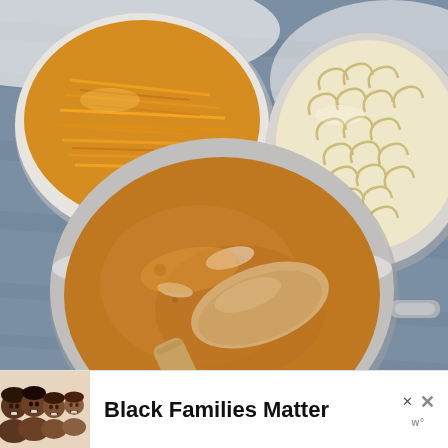[Figure (photo): Overhead view of mac and cheese preparation: a large silver pot in the center contains a golden-brown cheese sauce being stirred with a wooden spoon, a glass bowl at top-left holds shredded orange cheddar cheese, and a silver bowl at top-right holds cooked elbow macaroni pasta, all arranged on a blue denim cloth background.]
[Figure (photo): Advertisement banner showing a smiling family of four (two adults and two children) lying together, next to bold text reading 'Black Families Matter' with two X/close icons on the right side.]